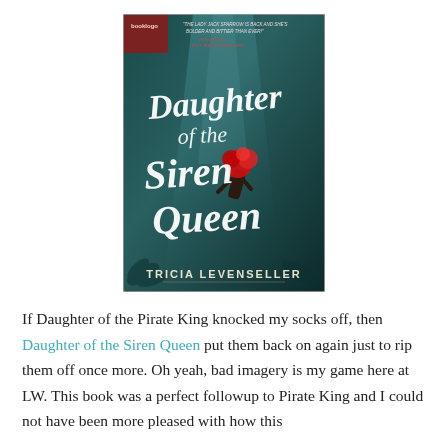[Figure (illustration): Book cover of 'Daughter of the Siren Queen' by Tricia Levenseller. Dark teal/green underwater-themed cover with white calligraphic title text and a figure with red hair falling or floating. A small publisher logo is in the top-left corner and a quote is in the top-right.]
If Daughter of the Pirate King knocked my socks off, then Daughter of the Siren Queen put them back on again just to rip them off once more. Oh yeah, bad imagery is my game here at LW. This book was a perfect followup to Pirate King and I could not have been more pleased with how this